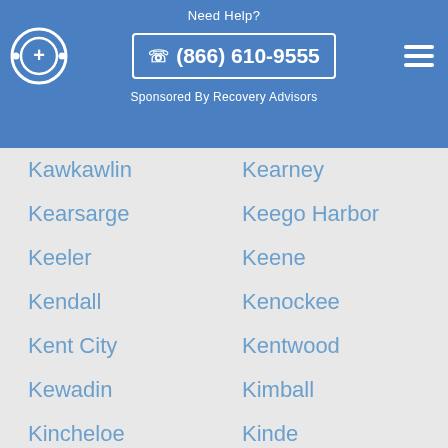Need Help? (866) 610-9555 Sponsored By Recovery Advisors
Kawkawlin
Kearney
Kearsarge
Keego Harbor
Keeler
Keene
Kendall
Kenockee
Kent City
Kentwood
Kewadin
Kimball
Kincheloe
Kinde
Kinderhook
Kingsford
Kingsley
Kingston
Kingston Township
Kinross
Klacking
Kochville
Koehler
Koylton
Krakow